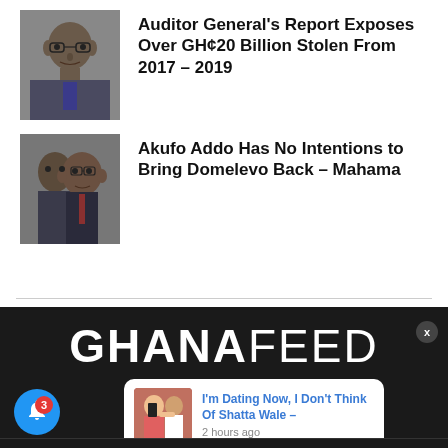[Figure (photo): Portrait photo of a man in suit with glasses and tie]
Auditor General's Report Exposes Over GH¢20 Billion Stolen From 2017 – 2019
[Figure (photo): Portrait photo of a man in suit, appears to be a politician]
Akufo Addo Has No Intentions to Bring Domelevo Back – Mahama
[Figure (logo): GHANAFEED website logo in white on dark background]
[Figure (photo): Thumbnail photo of couple for notification popup]
I'm Dating Now, I Don't Think Of Shatta Wale –
2 hours ago
HOME   ABOUT US   PRIVACY POLICY   CONTACT US   SITEMAP